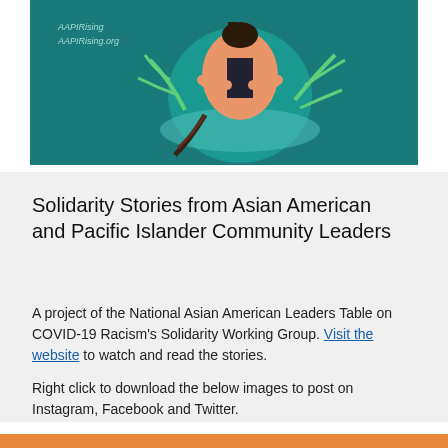[Figure (illustration): Illustration on teal/dark teal background showing a stylized figure of a person with indigenous/cultural imagery, plants/leaves, and text reading 'AAPI-Rising' and 'AAPIRising.org']
Solidarity Stories from Asian American and Pacific Islander Community Leaders
A project of the National Asian American Leaders Table on COVID-19 Racism's Solidarity Working Group. Visit the website to watch and read the stories.
Right click to download the below images to post on Instagram, Facebook and Twitter.